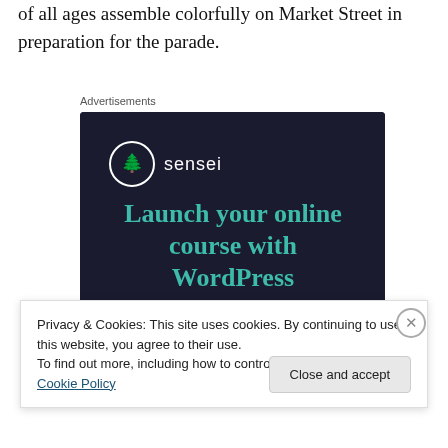of all ages assemble colorfully on Market Street in preparation for the parade.
Advertisements
[Figure (illustration): Sensei advertisement: dark navy background with Sensei logo (circle with tree icon), tagline 'Launch your online course with WordPress', and a teal 'Learn More' button.]
Privacy & Cookies: This site uses cookies. By continuing to use this website, you agree to their use.
To find out more, including how to control cookies, see here: Cookie Policy
Close and accept